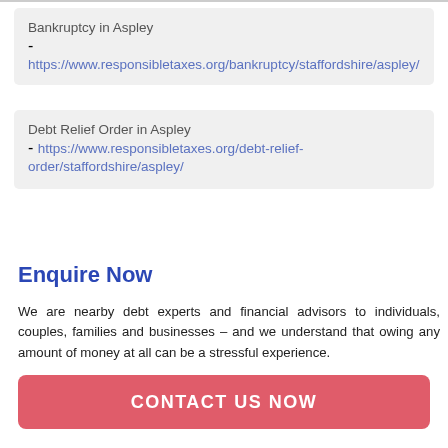Bankruptcy in Aspley - https://www.responsibletaxes.org/bankruptcy/staffordshire/aspley/
Debt Relief Order in Aspley - https://www.responsibletaxes.org/debt-relief-order/staffordshire/aspley/
Enquire Now
We are nearby debt experts and financial advisors to individuals, couples, families and businesses – and we understand that owing any amount of money at all can be a stressful experience.
CONTACT US NOW
Enquire now and let us take a closer look at your financial profile and circumstances so that we may help you find a worthwhile and practical solution to your money lending woes.